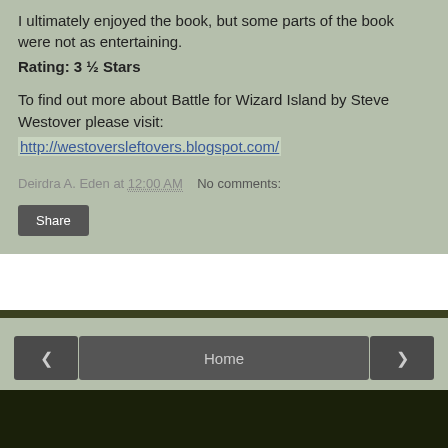I ultimately enjoyed the book, but some parts of the book were not as entertaining.
Rating: 3 ½ Stars
To find out more about Battle for Wizard Island by Steve Westover please visit:
http://westoversleftovers.blogspot.com/
Deirdra A. Eden at 12:00 AM   No comments:
Share
◄   Home   ►
View web version